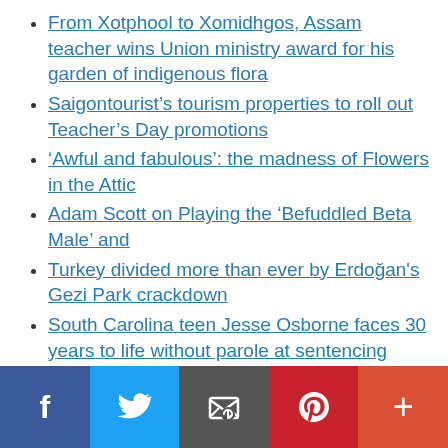From Xotphool to Xomidhgos, Assam teacher wins Union ministry award for his garden of indigenous flora
Saigontourist’s tourism properties to roll out Teacher’s Day promotions
'Awful and fabulous': the madness of Flowers in the Attic
Adam Scott on Playing the ‘Befuddled Beta Male’ and
Turkey divided more than ever by Erdoğan's Gezi Park crackdown
South Carolina teen Jesse Osborne faces 30 years to life without parole at sentencing after he murdered his father, then shot up an
Facebook | Twitter | Email | Pinterest | More